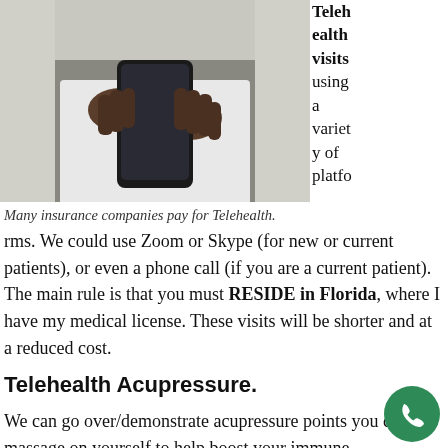[Figure (photo): Close-up of a person in a white coat holding a smartphone, symbolizing telehealth.]
Many insurance companies pay for Telehealth.
Telehealth visits using a variety of platforms. We could use Zoom or Skype (for new or current patients), or even a phone call (if you are a current patient). The main rule is that you must RESIDE in Florida, where I have my medical license. These visits will be shorter and at a reduced cost.
Telehealth Acupressure.
We can go over/demonstrate acupressure points you can massage on yourself to help boost your immune system, at risk for missing medications, and more.